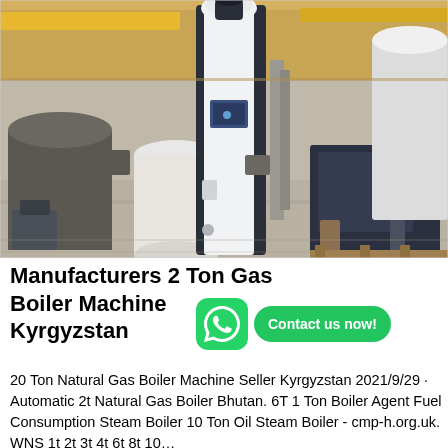[Figure (photo): Industrial boiler machines in a factory warehouse. A tall white and dark blue vertical boiler unit is in the center foreground. Other cylindrical boiler tanks and industrial equipment are visible in the background on a concrete factory floor.]
Manufacturers 2 Ton Gas Boiler Machine Kyrgyzstan
[Figure (logo): WhatsApp green icon with phone handset symbol, followed by a green rounded rectangle button reading 'Contact us now!']
20 Ton Natural Gas Boiler Machine Seller Kyrgyzstan 2021/9/29 · Automatic 2t Natural Gas Boiler Bhutan. 6T 1 Ton Boiler Agent Fuel Consumption Steam Boiler 10 Ton Oil Steam Boiler - cmp-h.org.uk. WNS 1t 2t 3t 4t 6t 8t 10...